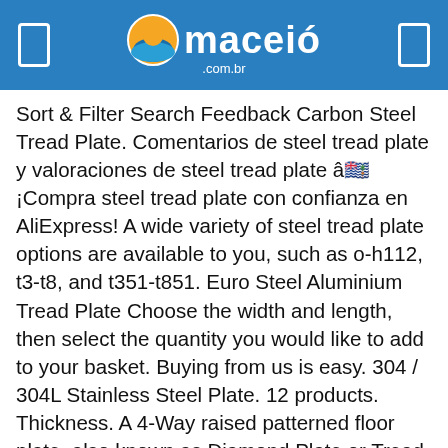[Figure (logo): Maceió .com.br logo with sun/water icon on blue header bar]
Sort & Filter Search Feedback Carbon Steel Tread Plate. Comentarios de steel tread plate y valoraciones de steel tread plate â ¡Compra steel tread plate con confianza en AliExpress! A wide variety of steel tread plate options are available to you, such as o-h112, t3-t8, and t351-t851. Euro Steel Aluminium Tread Plate Choose the width and length, then select the quantity you would like to add to your basket. Buying from us is easy. 304 / 304L Stainless Steel Plate. 12 products. Thickness. A 4-Way raised patterned floor plate, also known as Diamond Plate or Tread Plate is designed to provide skid resistance while remaining easy to clean and maintain. Steel tread plate can be used for many different purposes and applications. Learn more about Easysteel's services here. 3.1875) Enter OD details in inches up to four decimal places (ex. We supply and export EN 10025-6 steel plate S500Q 1.8924. We're proud to stock a large range of thicknesses. The diamond cross hatch pattern